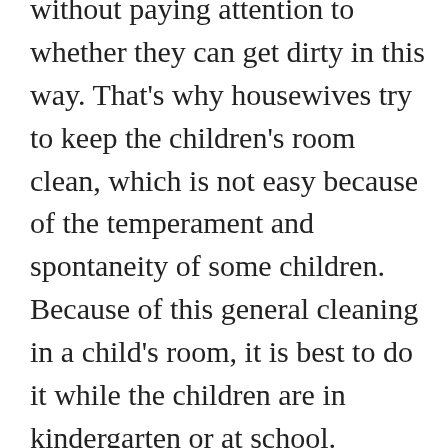without paying attention to whether they can get dirty in this way. That's why housewives try to keep the children's room clean, which is not easy because of the temperament and spontaneity of some children. Because of this general cleaning in a child's room, it is best to do it while the children are in kindergarten or at school. However, smaller orders can be done together with children, and thanks to this they will learn to take care of cleanliness. All children can participate in cleaning toys, while older children can also participate in other activities performed in their room.